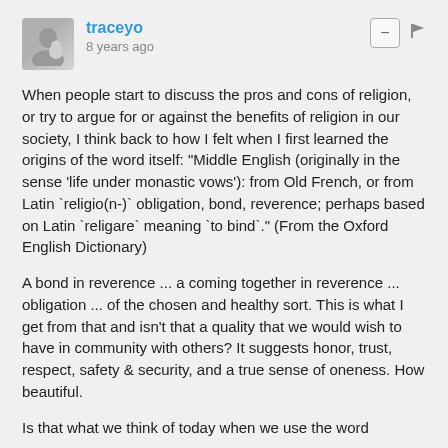traceyo · 8 years ago
When people start to discuss the pros and cons of religion, or try to argue for or against the benefits of religion in our society, I think back to how I felt when I first learned the origins of the word itself: "Middle English (originally in the sense 'life under monastic vows'): from Old French, or from Latin `religio(n-)` obligation, bond, reverence; perhaps based on Latin `religare` meaning `to bind`." (From the Oxford English Dictionary)
A bond in reverence ... a coming together in reverence ... obligation ... of the chosen and healthy sort. This is what I get from that and isn't that a quality that we would wish to have in community with others? It suggests honor, trust, respect, safety & security, and a true sense of oneness. How beautiful.
Is that what we think of today when we use the word